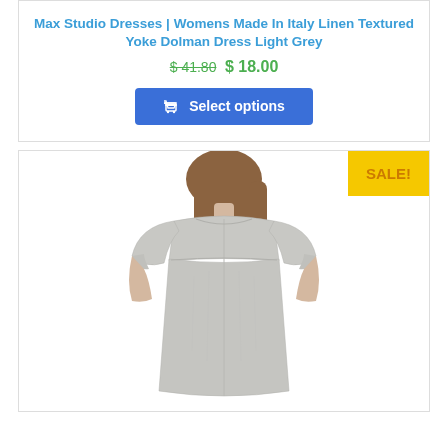Max Studio Dresses | Womens Made In Italy Linen Textured Yoke Dolman Dress Light Grey
$ 41.80 $ 18.00
[Figure (screenshot): Blue 'Select options' button with shopping cart icon]
[Figure (photo): Woman wearing a light grey linen dolman dress, shown from the back. Yellow SALE! badge in top right corner.]